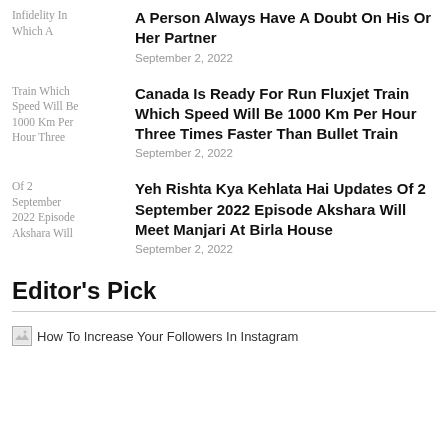Infidelity In Which A
A Person Always Have A Doubt On His Or Her Partner
September 2, 2022
Train Which Speed Will Be 1000 Km Per Hour Three
Canada Is Ready For Run Fluxjet Train Which Speed Will Be 1000 Km Per Hour Three Times Faster Than Bullet Train
September 2, 2022
Of 2 September 2022 Episode Akshara Will
Yeh Rishta Kya Kehlata Hai Updates Of 2 September 2022 Episode Akshara Will Meet Manjari At Birla House
September 2, 2022
Editor's Pick
[Figure (illustration): Broken image icon placeholder]
How To Increase Your Followers In Instagram